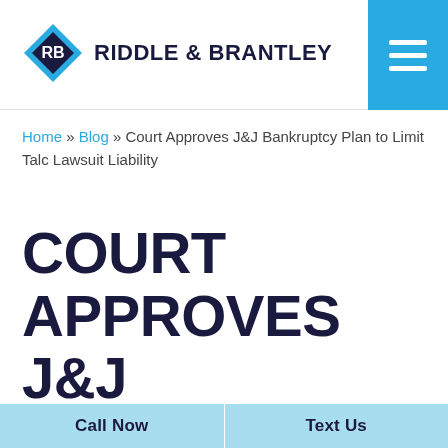Riddle & Brantley
Home » Blog » Court Approves J&J Bankruptcy Plan to Limit Talc Lawsuit Liability
COURT APPROVES J&J BANKRUPTCY PLAN TO LIMIT TALC LAWSUIT LIABILITY
Call Now | Text Us